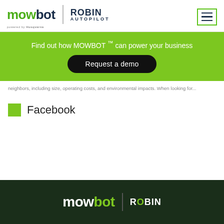[Figure (logo): Mowbot and Robin Autopilot logos with menu button in header]
Find out how MOWBOT ™ can power your business
Request a demo
neighbors, including size, operating costs, and environmental impacts. When looking for...
Facebook
[Figure (logo): Mowbot and Robin Autopilot logos in dark footer]